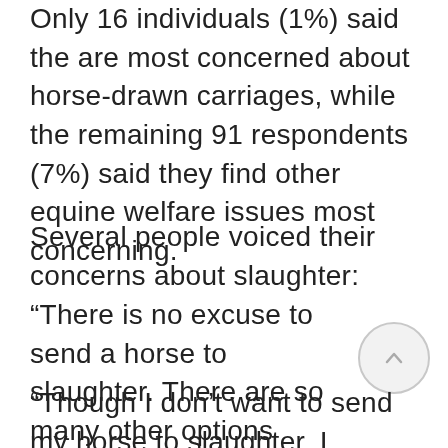Only 16 individuals (1%) said the are most concerned about horse-drawn carriages, while the remaining 91 respondents (7%) said they find other equine welfare issues most concerning.
Several people voiced their concerns about slaughter:
“There is no excuse to send a horse to slaughter. There are so many other options available.”
“Though I don’t want to send my horse to slaughter, I believe it is an option we need in the United States.”